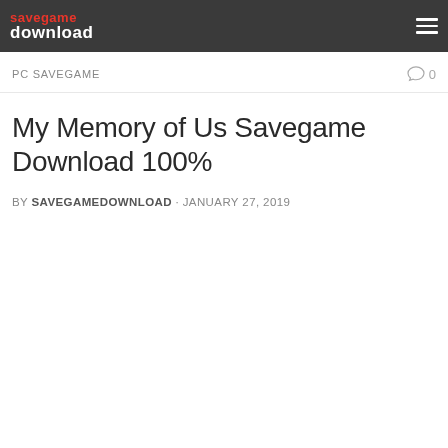savegame download
PC SAVEGAME
My Memory of Us Savegame Download 100%
BY SAVEGAMEDOWNLOAD · JANUARY 27, 2019